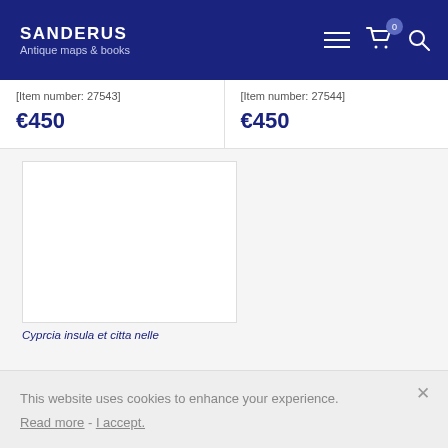SANDERUS Antique maps & books
[Item number: 27543]
€450
[Item number: 27544]
€450
[Figure (other): White empty product image box]
Cypricla insula et citta nelle...
This website uses cookies to enhance your experience. Read more - I accept.